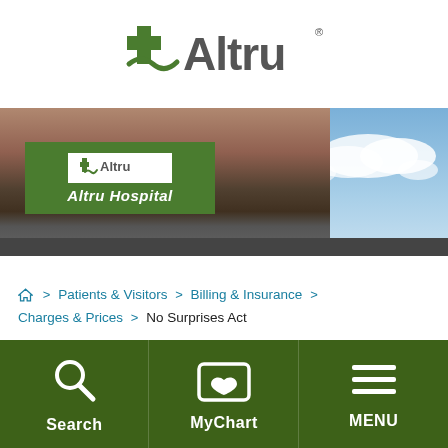[Figure (logo): Altru Health System logo with green cross and stylized swoosh mark, grey text reading 'Altru' with registered trademark symbol]
[Figure (photo): Exterior photo of Altru Hospital building showing brick facade with green sign reading 'Altru Hospital', cloudy blue sky in background]
Home > Patients & Visitors > Billing & Insurance > Charges & Prices > No Surprises Act
[Figure (screenshot): Bottom navigation bar with dark green background showing three items: Search (magnifying glass icon), MyChart (folder with heart icon), and MENU (hamburger icon)]